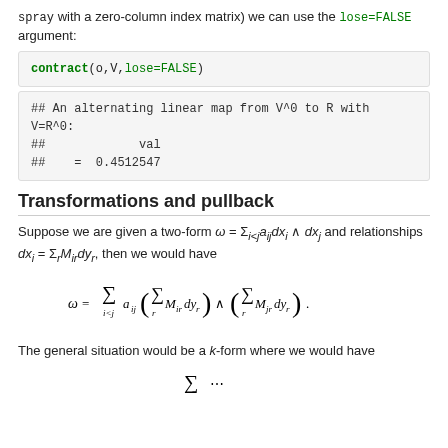spray with a zero-column index matrix) we can use the lose=FALSE argument:
contract(o, V, lose=FALSE)
## An alternating linear map from V^0 to R with V=R^0:
##            val
## =  0.4512547
Transformations and pullback
Suppose we are given a two-form ω = Σ_{i<j} a_{ij} dx_i ∧ dx_j and relationships dx_i = Σ_r M_{ir} dy_r, then we would have
The general situation would be a k-form where we would have